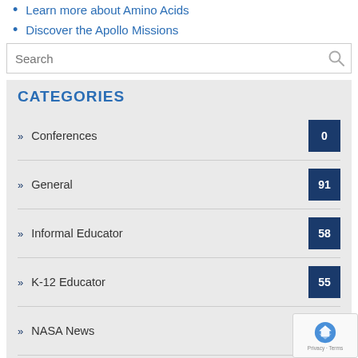Learn more about Amino Acids
Discover the Apollo Missions
CATEGORIES
» Conferences 0
» General 91
» Informal Educator 58
» K-12 Educator 55
» NASA News 81
» Pre-Services Educator
» University Faculty 54